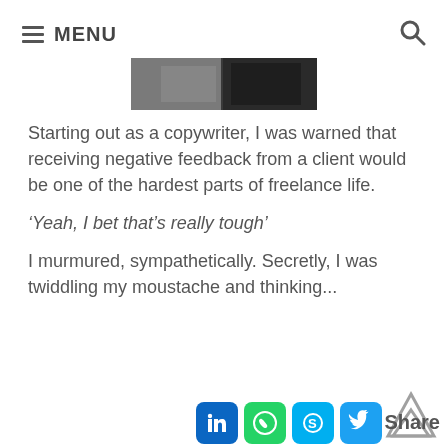MENU
[Figure (photo): Partial photo of two people, cropped, showing upper body area in dark/grey tones]
Starting out as a copywriter, I was warned that receiving negative feedback from a client would be one of the hardest parts of freelance life.
‘Yeah, I bet that’s really tough’
I murmured, sympathetically. Secretly, I was twiddling my moustache and thinking...
[Figure (infographic): Social share bar with LinkedIn, WhatsApp, Skype, Twitter icons and Share label, plus a scroll-to-top triangle arrow]